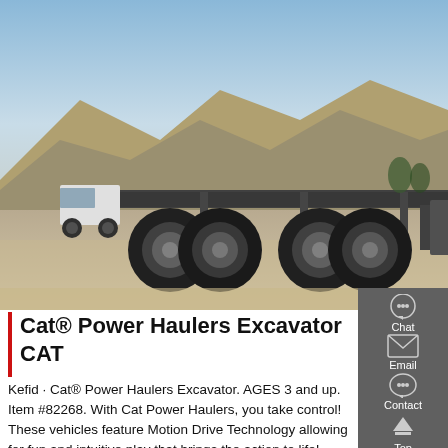[Figure (photo): Silver CAT semi-truck/tractor unit parked on dirt ground with rocky hills in the background. The truck has a large cab and exposed chassis with multiple axles and large tires.]
Cat® Power Haulers Excavator CAT
Kefid · Cat® Power Haulers Excavator. AGES 3 and up. Item #82268. With Cat Power Haulers, you take control! These vehicles feature Motion Drive Technology allowing for fun and intuitive play that brings the action to life! With Motion Drive Technology, push the vehicle forward to make the engine rev and